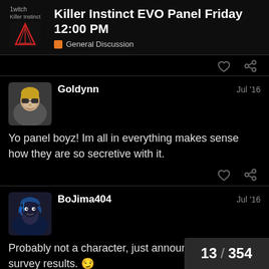Killer Instinct EVO Panel Friday 12:00 PM
General Discussion
Goldynn  Jul '16
Yo panel boyz! Im all in everything makes sense how they are so secretive with it.
BoJima404  Jul '16
Probably not a character, just announcenent of the survey results. 😏
13 / 354